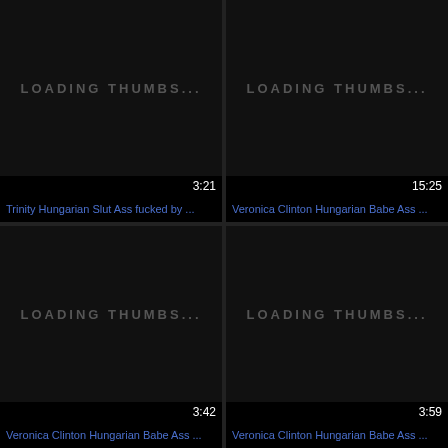[Figure (screenshot): Video thumbnail placeholder showing LOADING THUMBS... text, duration 3:21, title: Trinity Hungarian Slut Ass fucked by ...]
[Figure (screenshot): Video thumbnail placeholder showing LOADING THUMBS... text, duration 15:25, title: Veronica Clinton Hungarian Babe Ass ...]
[Figure (screenshot): Video thumbnail placeholder showing LOADING THUMBS... text, duration 3:42, title: Veronica Clinton Hungarian Babe Ass ...]
[Figure (screenshot): Video thumbnail placeholder showing LOADING THUMBS... text, duration 3:59, title: Veronica Clinton Hungarian Babe Ass ...]